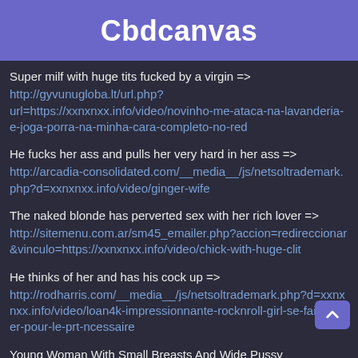Cbdcanvas
Super milf with huge tits fucked by a virgin =>
http://gyvunugloba.lt/url.php?url=https://xxnxnxx.info/video/novinho-me-ataca-na-lavanderia-e-joga-porra-na-minha-cara-completo-no-red
He fucks her ass and pulls her very hard in her ass =>
http://arcadia-consolidated.com/__media__/js/netsoltrademark.php?d=xxnxnxx.info/video/ginger-wife
The naked blonde has perverted sex with her rich lover =>
http://sitemenu.com.ar/sm45_emailer.php?accion=redireccionar&vinculo=https://xxnxnxx.info/video/chick-with-huge-clit
He thinks of her and has his cock up =>
http://rodharris.com/__media__/js/netsoltrademark.php?d=xxnxnxx.info/video/loan4k-impressionnante-rocknroll-girl-se-fait-clouer-pour-le-prt-ncessaire
Young Woman With Small Breasts And Wide Pussy